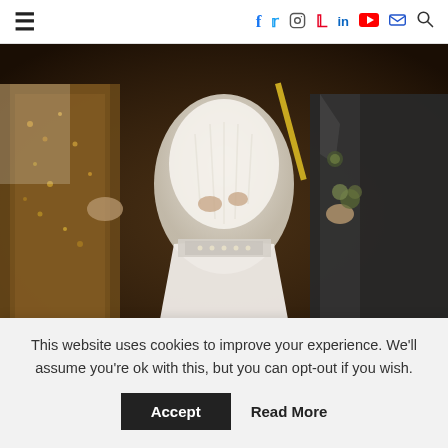Navigation bar with hamburger menu and social icons: Facebook, Twitter, Instagram, Pinterest, LinkedIn, YouTube, Email, Search
[Figure (photo): Wedding photo showing a bride in a white fur-trimmed dress with an embellished belt, holding a decorative item, flanked by a person in a gold/bronze dress on the left and a man in a dark suit on the right. The background is dark and warm-toned.]
Ten Things to do in
This website uses cookies to improve your experience. We'll assume you're ok with this, but you can opt-out if you wish.
Accept   Read More